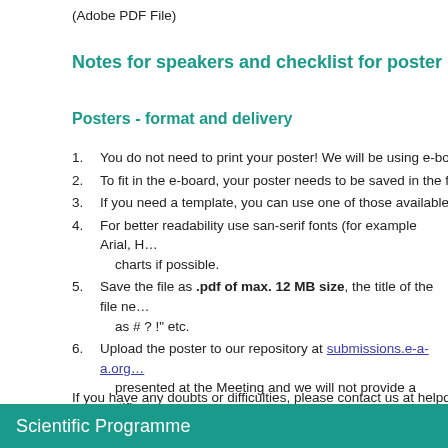(Adobe PDF File)
Notes for speakers and checklist for poster presen…
Posters - format and delivery
You do not need to print your poster! We will be using e-board…
To fit in the e-board, your poster needs to be saved in the follo…
If you need a template, you can use one of those available he…
For better readability use san-serif fonts (for example Arial, H… charts if possible.
Save the file as .pdf of max. 12 MB size, the title of the file ne… as # ? !" etc.
Upload the poster to our repository at submissions.e-a-a.org… presented at the Meeting and we will not provide a certificate…
Session organisers may ask you to shortly present the poste…
If you have any doubts or difficulties, please contact us at helpdesk…
Scientific Programme